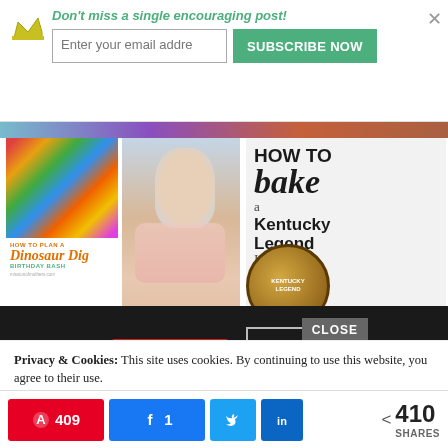Don't miss a single encouraging post! Enter your email address SUBSCRIBE NOW
[Figure (screenshot): Blog post thumbnail grid showing: colored Easter eggs/candy image, mother holding child photo, How To Bake a Kentucky Legend Ham text graphic, dinosaur dig birthday bash cursive text, pizza food images]
[Figure (screenshot): Seamless food ordering advertisement with red Seamless logo and ORDER NOW button on dark background. CLOSE button overlay.]
Privacy & Cookies: This site uses cookies. By continuing to use this website, you agree to their use.
To find out more, including how to control cookies, see here: Cookie Policy
409  1  [twitter icon]  [linkedin icon]  < 410 SHARES